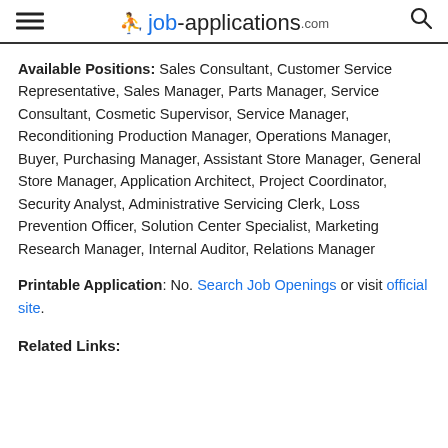job-applications.com
Available Positions: Sales Consultant, Customer Service Representative, Sales Manager, Parts Manager, Service Consultant, Cosmetic Supervisor, Service Manager, Reconditioning Production Manager, Operations Manager, Buyer, Purchasing Manager, Assistant Store Manager, General Store Manager, Application Architect, Project Coordinator, Security Analyst, Administrative Servicing Clerk, Loss Prevention Officer, Solution Center Specialist, Marketing Research Manager, Internal Auditor, Relations Manager
Printable Application: No. Search Job Openings or visit official site.
Related Links: